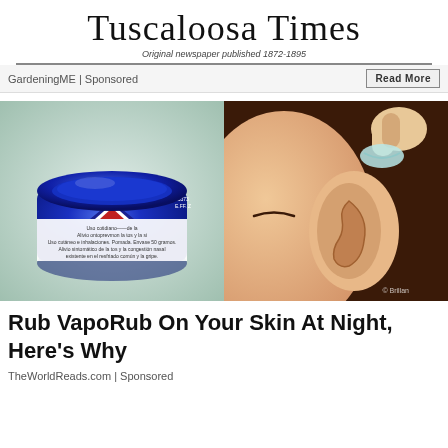Tuscaloosa Times
Original newspaper published 1872-1895
GardeningME | Sponsored
Read More
[Figure (photo): Left half: A blue jar of VapoRub with label text in Spanish. Right half: Cartoon illustration of a finger applying cream to a person's ear.]
Rub VapoRub On Your Skin At Night, Here's Why
TheWorldReads.com | Sponsored